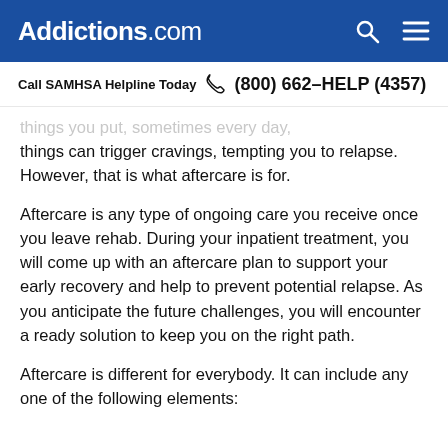Addictions.com
Call SAMHSA Helpline Today  (800) 662-HELP (4357)
things can trigger cravings, tempting you to relapse. However, that is what aftercare is for.
Aftercare is any type of ongoing care you receive once you leave rehab. During your inpatient treatment, you will come up with an aftercare plan to support your early recovery and help to prevent potential relapse. As you anticipate the future challenges, you will encounter a ready solution to keep you on the right path.
Aftercare is different for everybody. It can include any one of the following elements: